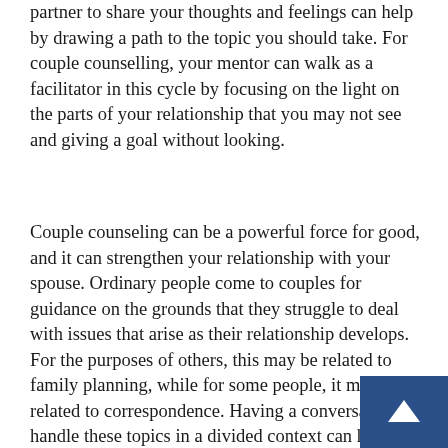partner to share your thoughts and feelings can help by drawing a path to the topic you should take. For couple counselling, your mentor can walk as a facilitator in this cycle by focusing on the light on the parts of your relationship that you may not see and giving a goal without looking.
Couple counseling can be a powerful force for good, and it can strengthen your relationship with your spouse. Ordinary people come to couples for guidance on the grounds that they struggle to deal with issues that arise as their relationship develops. For the purposes of others, this may be related to family planning, while for some people, it may be related to correspondence. Having a conversation to handle these topics in a divided context can help speed up the development of your relationship by demonstrating and understanding these two perspectives, and finding out once your valu...